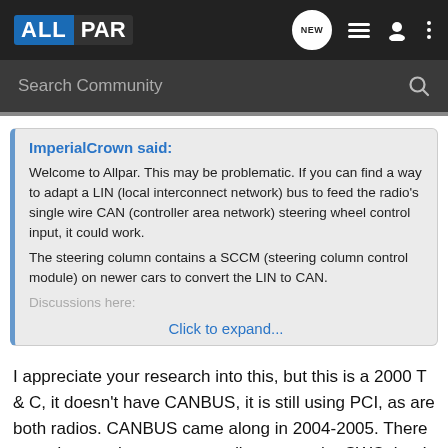ALLPAR
Search Community
ImperialCrown said:
Welcome to Allpar. This may be problematic. If you can find a way to adapt a LIN (local interconnect network) bus to feed the radio's single wire CAN (controller area network) steering wheel control input, it could work.
The steering column contains a SCCM (steering column control module) on newer cars to convert the LIN to CAN.
Discussions here:
Click to expand...
I appreciate your research into this, but this is a 2000 T & C, it doesn't have CANBUS, it is still using PCI, as are both radios. CANBUS came along in 2004-2005. There are adapters that program radios to use the SWC, but I should not have to do that, as these radios are both PCI radios and should be communicating with each other, if the wiring adapter is correct.